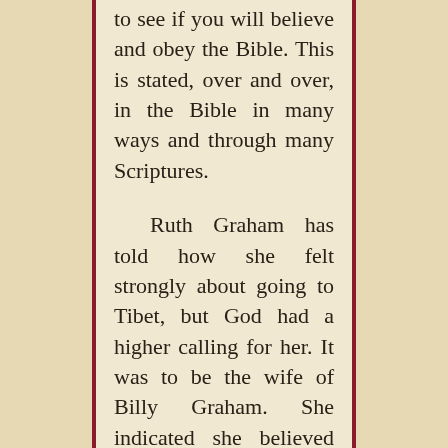to see if you will believe and obey the Bible. This is stated, over and over, in the Bible in many ways and through many Scriptures.

Ruth Graham has told how she felt strongly about going to Tibet, but God had a higher calling for her. It was to be the wife of Billy Graham. She indicated she believed God was testing her